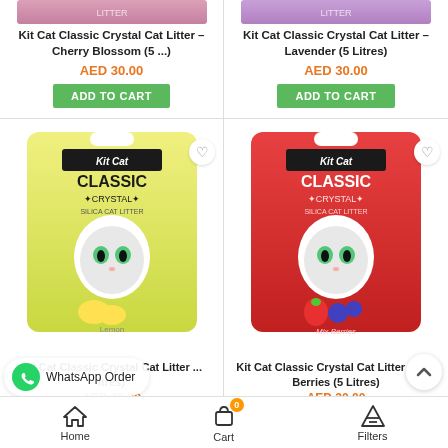[Figure (photo): Top portion of Kit Cat Classic Crystal Cat Litter Cherry Blossom bag (pink/purple gradient)]
Kit Cat Classic Crystal Cat Litter – Cherry Blossom (5 ...)
AED 30.00
ADD TO CART
[Figure (photo): Top portion of Kit Cat Classic Crystal Cat Litter Lavender bag (pink/purple gradient)]
Kit Cat Classic Crystal Cat Litter – Lavender (5 Litres)
AED 30.00
ADD TO CART
[Figure (photo): Kit Cat Classic Crystal Silica Cat Litter – Lemon scent, yellow bag with white cat and lemon illustration]
Kit Cat Classic Crystal Cat Litter ... itres)
AED 30.00
[Figure (photo): Kit Cat Classic Crystal Silica Cat Litter – Mix Berries scent, red bag with white cat and berries illustration]
Kit Cat Classic Crystal Cat Litter – Mix Berries (5 Litres)
AED 30.00
WhatsApp Order
Home   Cart   Filters